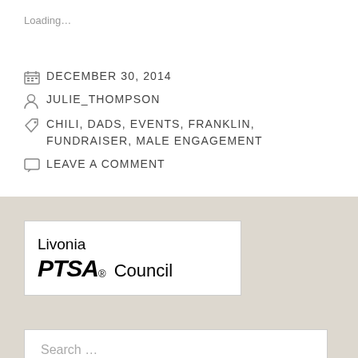Loading…
DECEMBER 30, 2014
JULIE_THOMPSON
CHILI, DADS, EVENTS, FRANKLIN, FUNDRAISER, MALE ENGAGEMENT
LEAVE A COMMENT
[Figure (logo): Livonia PTSA Council logo in a white box]
Search …